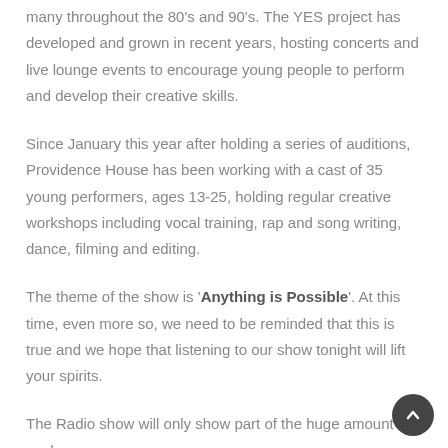many throughout the 80's and 90's. The YES project has developed and grown in recent years, hosting concerts and live lounge events to encourage young people to perform and develop their creative skills.
Since January this year after holding a series of auditions, Providence House has been working with a cast of 35 young performers, ages 13-25, holding regular creative workshops including vocal training, rap and song writing, dance, filming and editing.
The theme of the show is 'Anything is Possible'. At this time, even more so, we need to be reminded that this is true and we hope that listening to our show tonight will lift your spirits.
The Radio show will only show part of the huge amount of work